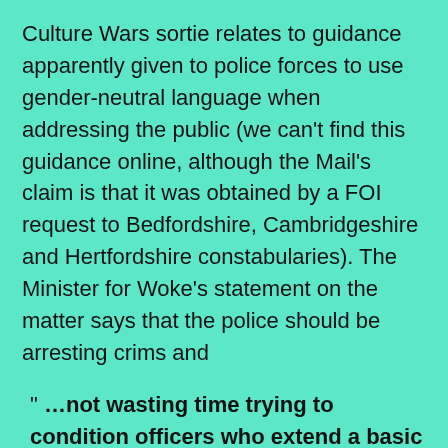Culture Wars sortie relates to guidance apparently given to police forces to use gender-neutral language when addressing the public (we can’t find this guidance online, although the Mail’s claim is that it was obtained by a FOI request to Bedfordshire, Cambridgeshire and Hertfordshire constabularies). The Minister for Woke’s statement on the matter says that the police should be arresting crims and
“ …not wasting time trying to condition officers who extend a basic courtesy to the people they serve